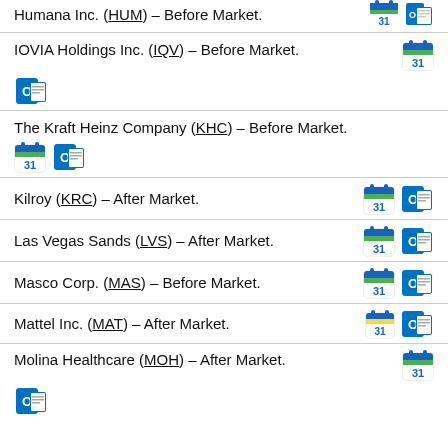Humana Inc. (HUM) – Before Market.
IOVIA Holdings Inc. (IQV) – Before Market.
The Kraft Heinz Company (KHC) – Before Market.
Kilroy (KRC) – After Market.
Las Vegas Sands (LVS) – After Market.
Masco Corp. (MAS) – Before Market.
Mattel Inc. (MAT) – After Market.
Molina Healthcare (MOH) – After Market.